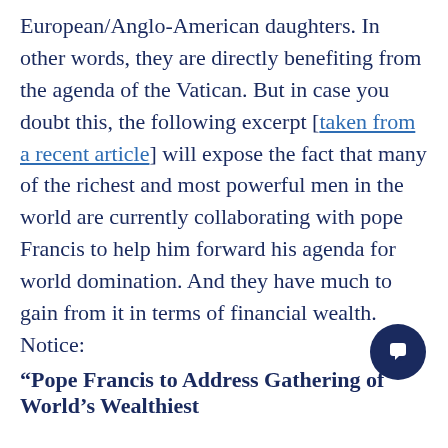European/Anglo-American daughters. In other words, they are directly benefiting from the agenda of the Vatican. But in case you doubt this, the following excerpt [taken from a recent article] will expose the fact that many of the richest and most powerful men in the world are currently collaborating with pope Francis to help him forward his agenda for world domination. And they have much to gain from it in terms of financial wealth. Notice:
“Pope Francis to Address Gathering of World’s Wealthiest